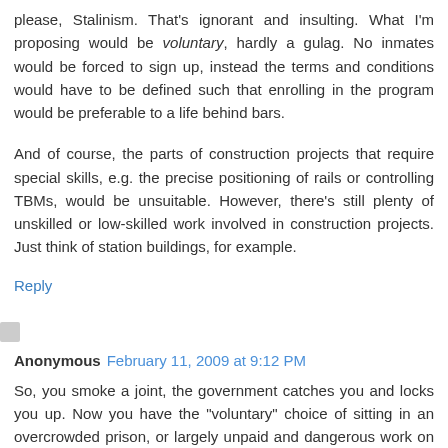please, Stalinism. That's ignorant and insulting. What I'm proposing would be voluntary, hardly a gulag. No inmates would be forced to sign up, instead the terms and conditions would have to be defined such that enrolling in the program would be preferable to a life behind bars.
And of course, the parts of construction projects that require special skills, e.g. the precise positioning of rails or controlling TBMs, would be unsuitable. However, there's still plenty of unskilled or low-skilled work involved in construction projects. Just think of station buildings, for example.
Reply
Anonymous February 11, 2009 at 9:12 PM
So, you smoke a joint, the government catches you and locks you up. Now you have the "voluntary" choice of sitting in an overcrowded prison, or largely unpaid and dangerous work on a state construction project. I wouldn't exactly call that voluntary. On a more practical note, I doubt the